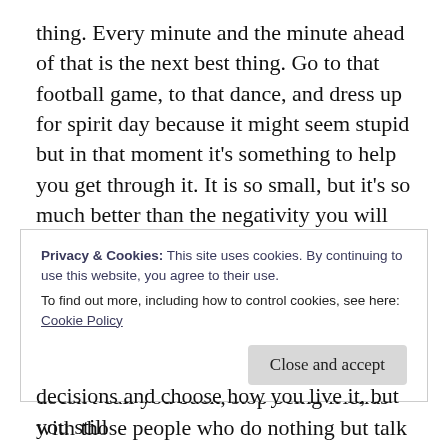thing. Every minute and the minute ahead of that is the next best thing. Go to that football game, to that dance, and dress up for spirit day because it might seem stupid but in that moment it's something to help you get through it. It is so small, but it's so much better than the negativity you will see. Go on that hike even though no one wants to go with you, go see that movie by yourself, ask that cute boy in your apartment complex out on a date, eat that fricken cupcake, dump that boy that doesn't call you back, stop being friends with those people who do nothing but talk about others, learn to play that
Privacy & Cookies: This site uses cookies. By continuing to use this website, you agree to their use.
To find out more, including how to control cookies, see here: Cookie Policy
decisions and choose how you live it, but you still